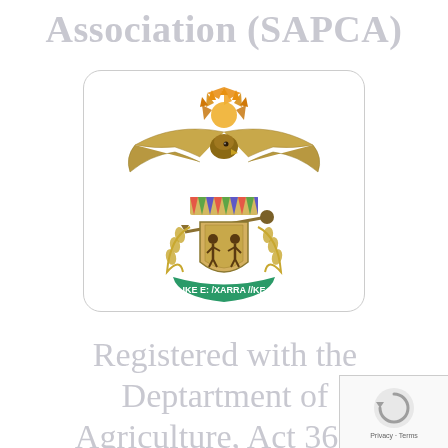Association (SAPCA)
[Figure (logo): South African coat of arms with eagle, shield showing two figures, crossed spear and knobkierie, wheat stalks, and motto banner reading 'IKE E: /XARRA //KE' on a green ribbon, enclosed in a rounded rectangle border.]
Registered with the Deptartment of Agriculture, Act 36 of